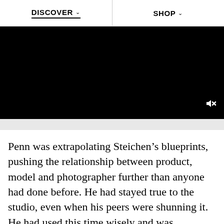DISCOVER   SHOP
[Figure (screenshot): Black video player area with a muted speaker icon in the bottom right corner and a light grey progress/control bar below.]
Penn was extrapolating Steichen’s blueprints, pushing the relationship between product, model and photographer further than anyone had done before. He had stayed true to the studio, even when his peers were shunning it. He had used this time wisely and was advanced in his use of